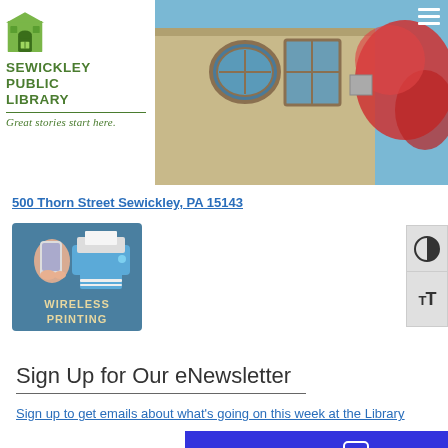[Figure (screenshot): Sewickley Public Library header with logo on left and building photo on right. Logo shows green building icon and text 'SEWICKLEY PUBLIC LIBRARY' with tagline 'Great stories start here.' Photo shows library building exterior with round window and red foliage.]
500 Thorn Street Sewickley, PA 15143
[Figure (logo): Wireless Printing promotional image showing a hand holding a phone and a printer with text 'WIRELESS PRINTING' on blue background]
Sign Up for Our eNewsletter
Sign up to get emails about what's going on this week at the Library
Chat now